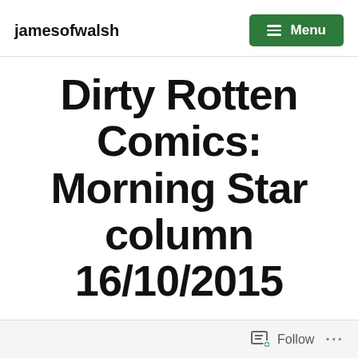jamesofwalsh  Menu
Dirty Rotten Comics: Morning Star column 16/10/2015
A MAN in a bar has antlers grow unexpectedly from his forehead. While you're digesting that, a woman's mind wanders as she's subjected to terrible rock music while taking an MRI scan.
Follow ...